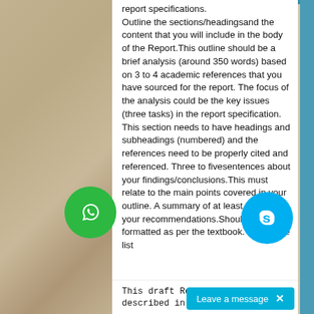report specifications. Outline the sections/headingsand the content that you will include in the body of the Report.This outline should be a brief analysis (around 350 words) based on 3 to 4 academic references that you have sourced for the report. The focus of the analysis could be the key issues (three tasks) in the report specification. This section needs to have headings and subheadings (numbered) and the references need to be properly cited and referenced. Three to fivesentences about your findings/conclusions.This must relate to the main points covered in your outline. A summary of at least three of your recommendations.Should be formatted as per the textbook. Reference list
This draft Report MUST REL... described in Assessment 3